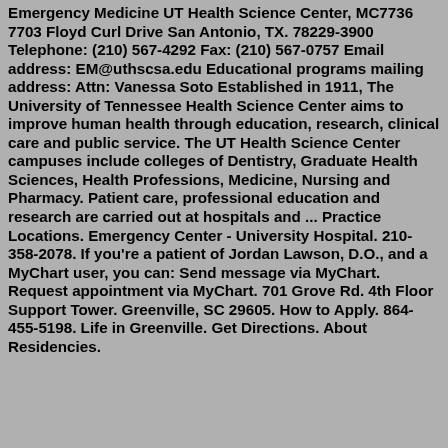Emergency Medicine UT Health Science Center, MC7736 7703 Floyd Curl Drive San Antonio, TX. 78229-3900 Telephone: (210) 567-4292 Fax: (210) 567-0757 Email address: EM@uthscsa.edu Educational programs mailing address: Attn: Vanessa Soto Established in 1911, The University of Tennessee Health Science Center aims to improve human health through education, research, clinical care and public service. The UT Health Science Center campuses include colleges of Dentistry, Graduate Health Sciences, Health Professions, Medicine, Nursing and Pharmacy. Patient care, professional education and research are carried out at hospitals and ... Practice Locations. Emergency Center - University Hospital. 210-358-2078. If you're a patient of Jordan Lawson, D.O., and a MyChart user, you can: Send message via MyChart. Request appointment via MyChart. 701 Grove Rd. 4th Floor Support Tower. Greenville, SC 29605. How to Apply. 864-455-5198. Life in Greenville. Get Directions. About Residencies.